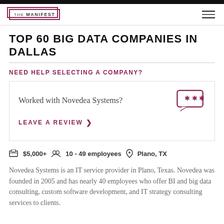THE MANIFEST
TOP 60 BIG DATA COMPANIES IN DALLAS
NEED HELP SELECTING A COMPANY?
Worked with Novedea Systems?
LEAVE A REVIEW >
$5,000+  10 - 49 employees  Plano, TX
Novedea Systems is an IT service provider in Plano, Texas. Novedea was founded in 2005 and has nearly 40 employees who offer BI and big data consulting, custom software development, and IT strategy consulting services to clients.